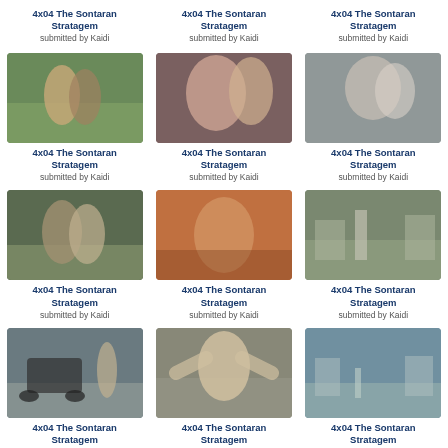4x04 The Sontaran Stratagem
submitted by Kaidi
4x04 The Sontaran Stratagem
submitted by Kaidi
4x04 The Sontaran Stratagem
submitted by Kaidi
[Figure (photo): Two people hugging on a street]
[Figure (photo): Close-up of two people embracing]
[Figure (photo): Close-up of elder person and woman embracing]
4x04 The Sontaran Stratagem
submitted by Kaidi
4x04 The Sontaran Stratagem
submitted by Kaidi
4x04 The Sontaran Stratagem
submitted by Kaidi
[Figure (photo): Two people embracing outdoors]
[Figure (photo): Woman smiling outdoors]
[Figure (photo): Person running on a street]
4x04 The Sontaran Stratagem
submitted by Kaidi
4x04 The Sontaran Stratagem
submitted by Kaidi
4x04 The Sontaran Stratagem
submitted by Kaidi
[Figure (photo): Woman by a car on a street]
[Figure (photo): Elderly man with arms raised]
[Figure (photo): Suburban street scene]
4x04 The Sontaran Stratagem
submitted by Kaidi
4x04 The Sontaran Stratagem
submitted by Kaidi
4x04 The Sontaran Stratagem
submitted by Kaidi
[Figure (photo): Outdoor scene partial]
[Figure (photo): Street scene partial]
[Figure (photo): Suburban road partial]